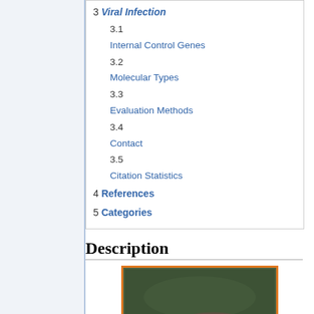3 Viral Infection
3.1 Internal Control Genes
3.2 Molecular Types
3.3 Evaluation Methods
3.4 Contact
3.5 Citation Statistics
4 References
5 Categories
Description
[Figure (photo): Photograph of Paralichthys olivaceus (olive flounder/Japanese halibut), a flatfish, resting on sandy bottom underwater. The fish appears brownish-grey with mottled patterning.]
Paralichthys olivaceus, a species of flatfish, is one of the most economic important fish species